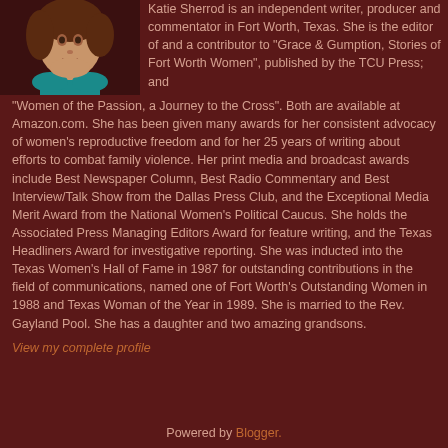[Figure (photo): Headshot of a woman with short hair wearing a teal/turquoise top, against a dark background]
Katie Sherrod is an independent writer, producer and commentator in Fort Worth, Texas. She is the editor of and a contributor to "Grace & Gumption, Stories of Fort Worth Women", published by the TCU Press; and "Women of the Passion, a Journey to the Cross". Both are available at Amazon.com. She has been given many awards for her consistent advocacy of women's reproductive freedom and for her 25 years of writing about efforts to combat family violence. Her print media and broadcast awards include Best Newspaper Column, Best Radio Commentary and Best Interview/Talk Show from the Dallas Press Club, and the Exceptional Media Merit Award from the National Women's Political Caucus. She holds the Associated Press Managing Editors Award for feature writing, and the Texas Headliners Award for investigative reporting. She was inducted into the Texas Women's Hall of Fame in 1987 for outstanding contributions in the field of communications, named one of Fort Worth's Outstanding Women in 1988 and Texas Woman of the Year in 1989. She is married to the Rev. Gayland Pool. She has a daughter and two amazing grandsons.
View my complete profile
Powered by Blogger.